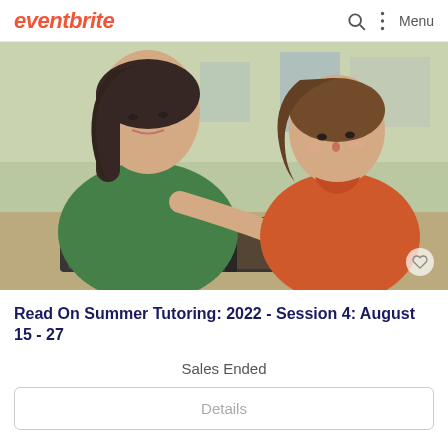eventbrite  Menu
[Figure (photo): A woman in a green cardigan and a young girl in an orange shirt looking at an open book together at a table. Educational tutoring scene.]
Read On Summer Tutoring: 2022 - Session 4: August 15 - 27
Sales Ended
Details